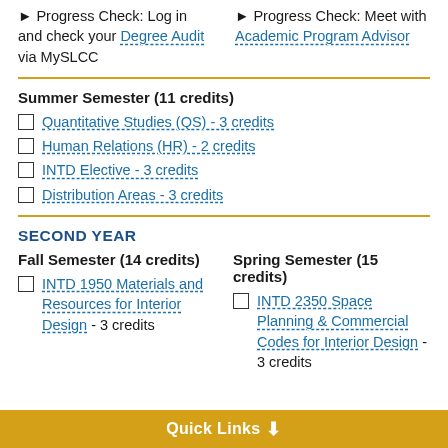► Progress Check: Log in and check your Degree Audit via MySLCC
► Progress Check: Meet with Academic Program Advisor
Summer Semester (11 credits)
Quantitative Studies (QS) - 3 credits
Human Relations (HR) - 2 credits
INTD Elective - 3 credits
Distribution Areas - 3 credits
SECOND YEAR
Fall Semester (14 credits)
Spring Semester (15 credits)
INTD 1950 Materials and Resources for Interior Design  -  3 credits
INTD 2350 Space Planning & Commercial Codes for Interior Design  -  3 credits
Quick Links ↓